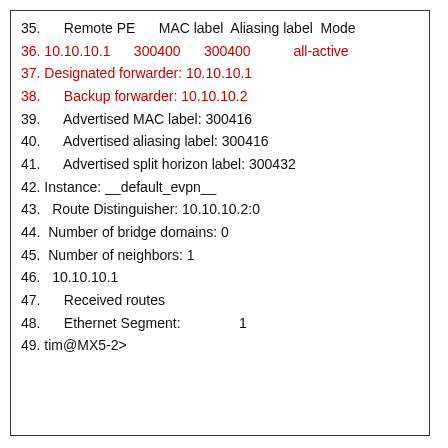35.      Remote PE      MAC label  Aliasing label  Mode
36. 10.10.10.1      300400      300400           all-active
37. Designated forwarder: 10.10.10.1
38.      Backup forwarder: 10.10.10.2
39.      Advertised MAC label: 300416
40.      Advertised aliasing label: 300416
41.      Advertised split horizon label: 300432
42. Instance: __default_evpn__
43.   Route Distinguisher: 10.10.10.2:0
44.  Number of bridge domains: 0
45.  Number of neighbors: 1
46.   10.10.10.1
47.      Received routes
48.      Ethernet Segment:               1
49. tim@MX5-2>